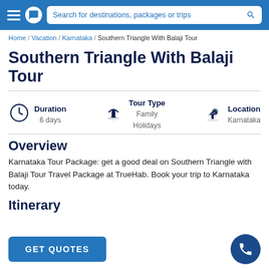Search for destinations, packages or trips
Home / Vacation / Karnataka / Southern Triangle With Balaji Tour
Southern Triangle With Balaji Tour
Duration: 6 days | Tour Type: Family Holidays | Location: Karnataka
Overview
Karnataka Tour Package: get a good deal on Southern Triangle with Balaji Tour Travel Package at TrueHab. Book your trip to Karnataka today.
Itinerary
GET QUOTES